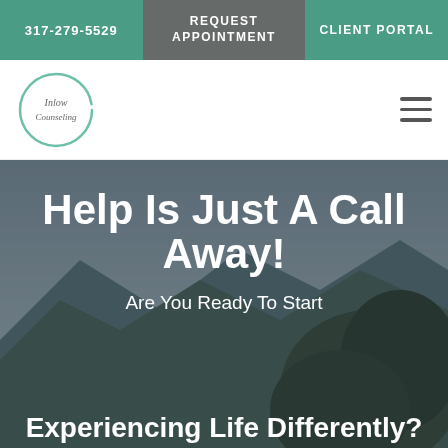317-279-5529 | REQUEST APPOINTMENT | CLIENT PORTAL
[Figure (logo): Inlow Counseling circular logo with teal brush-stroke circle and cursive text]
Help Is Just A Call Away!
Are You Ready To Start Experiencing Life Differently?